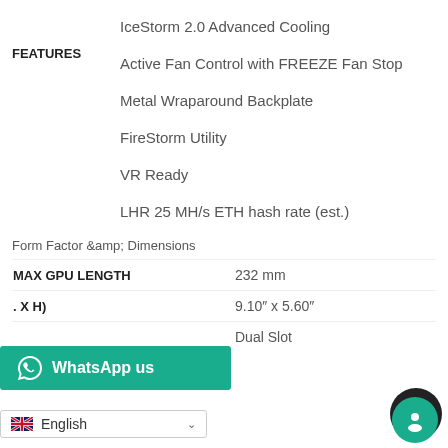FEATURES
IceStorm 2.0 Advanced Cooling
Active Fan Control with FREEZE Fan Stop
Metal Wraparound Backplate
FireStorm Utility
VR Ready
LHR 25 MH/s ETH hash rate (est.)
Form Factor &amp; Dimensions
|  |  |
| --- | --- |
| MAX GPU LENGTH | 232 mm |
| (L X H) | 9.10″ x 5.60″ |
|  | Dual Slot |